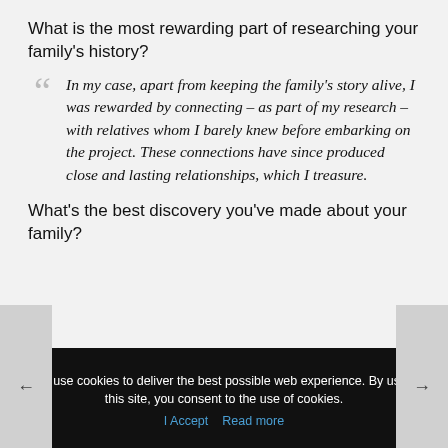What is the most rewarding part of researching your family’s history?
In my case, apart from keeping the family’s story alive, I was rewarded by connecting – as part of my research – with relatives whom I barely knew before embarking on the project. These connections have since produced close and lasting relationships, which I treasure.
What’s the best discovery you’ve made about your family?
We use cookies to deliver the best possible web experience. By using this site, you consent to the use of cookies.